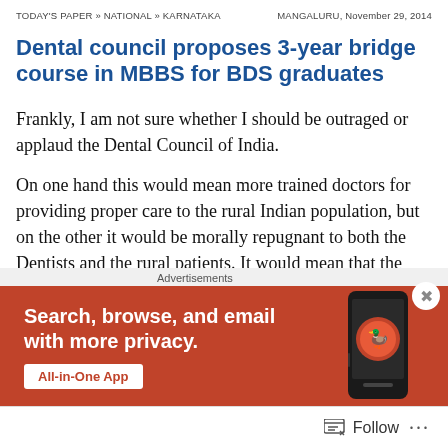TODAY'S PAPER » NATIONAL » KARNATAKA    MANGALURU, November 29, 2014
Dental council proposes 3-year bridge course in MBBS for BDS graduates
Frankly, I am not sure whether I should be outraged or applaud the Dental Council of India.
On one hand this would mean more trained doctors for providing proper care to the rural Indian population, but on the other it would be morally repugnant to both the Dentists and the rural patients. It would mean that the DCI is, by default, admitting that their students are better off trained
[Figure (screenshot): DuckDuckGo advertisement banner with orange background. Text reads 'Search, browse, and email with more privacy.' with a white button partially visible. A phone mockup with the DuckDuckGo logo appears on the right side.]